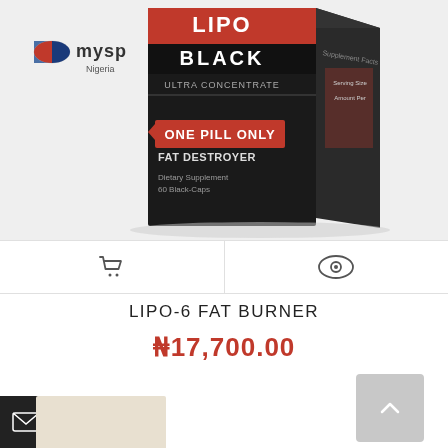[Figure (photo): Product photo of Lipo-6 Black Ultra Concentrate fat burner supplement box on white background, with MySP Nigeria logo in top left. Box is black with red accents, text says LIPO BLACK ULTRA CONCENTRATE, ONE PILL ONLY, FAT DESTROYER, Dietary Supplement.]
LIPO-6 FAT BURNER
₦17,700.00